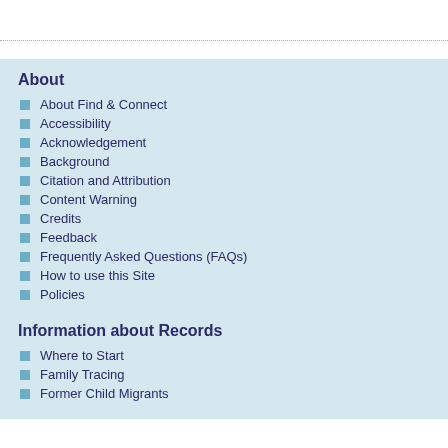About
About Find & Connect
Accessibility
Acknowledgement
Background
Citation and Attribution
Content Warning
Credits
Feedback
Frequently Asked Questions (FAQs)
How to use this Site
Policies
Information about Records
Where to Start
Family Tracing
Former Child Migrants